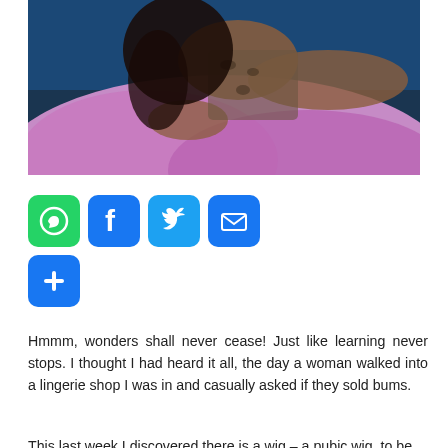[Figure (photo): A woman in a leopard-print outfit lying on pink/purple satin sheets against a dark blue background.]
[Figure (infographic): Social sharing buttons: WhatsApp (green), Facebook (blue), Twitter (light blue), Email (blue), and a plus/more button (blue).]
Hmmm, wonders shall never cease! Just like learning never stops. I thought I had heard it all, the day a woman walked into a lingerie shop I was in and casually asked if they sold bums.
This last week I discovered there is a wig – a pubic wig, to be